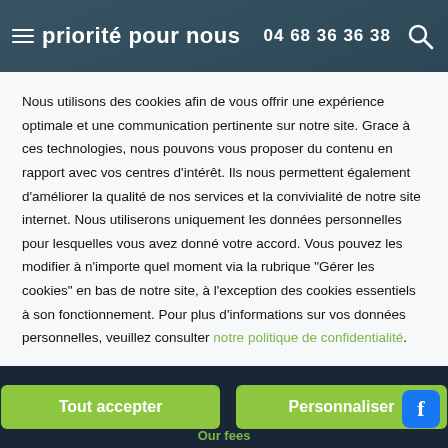priorité pour nous  04 68 36 36 38
Nous utilisons des cookies afin de vous offrir une expérience optimale et une communication pertinente sur notre site. Grace à ces technologies, nous pouvons vous proposer du contenu en rapport avec vos centres d'intérêt. Ils nous permettent également d'améliorer la qualité de nos services et la convivialité de notre site internet. Nous utiliserons uniquement les données personnelles pour lesquelles vous avez donné votre accord. Vous pouvez les modifier à n'importe quel moment via la rubrique "Gérer les cookies" en bas de notre site, à l'exception des cookies essentiels à son fonctionnement. Pour plus d'informations sur vos données personnelles, veuillez consulter notre politique de confidentialité.
Tout accepter
Personnaliser
Our fees